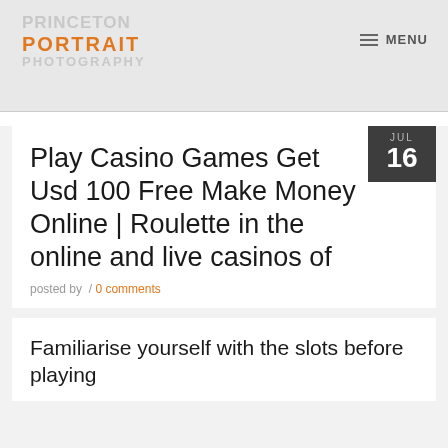PRINCETON PORTRAIT PHOTOGRAPHY
Play Casino Games Get Usd 100 Free Make Money Online | Roulette in the online and live casinos of
posted by  / 0 comments
Familiarise yourself with the slots before playing